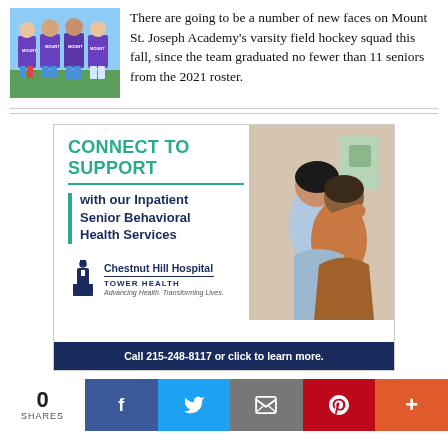[Figure (photo): Four girls in purple Mount St. Joseph Athletics uniforms standing together outdoors]
There are going to be a number of new faces on Mount St. Joseph Academy's varsity field hockey squad this fall, since the team graduated no fewer than 11 seniors from the 2021 roster.
[Figure (infographic): Advertisement for Chestnut Hill Hospital Tower Health. Headline: CONNECT TO SUPPORT. Subtext: with our Inpatient Senior Behavioral Health Services. Shows two women embracing. Logo: Chestnut Hill Hospital Tower Health, Advancing Health. Transforming Lives. Call to action: Call 215-248-8117 or click to learn more.]
0
SHARES